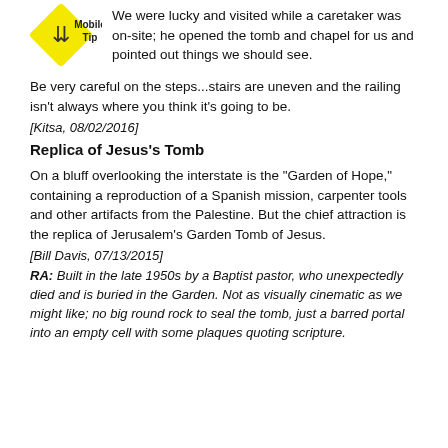[Figure (illustration): Mobile Tip icon: yellow diamond road sign with arrows, beside text 'Mobile Tip']
We were lucky and visited while a caretaker was on-site; he opened the tomb and chapel for us and pointed out things we should see.
Be very careful on the steps...stairs are uneven and the railing isn't always where you think it's going to be.
[Kitsa, 08/02/2016]
Replica of Jesus's Tomb
On a bluff overlooking the interstate is the "Garden of Hope," containing a reproduction of a Spanish mission, carpenter tools and other artifacts from the Palestine. But the chief attraction is the replica of Jerusalem's Garden Tomb of Jesus.
[Bill Davis, 07/13/2015]
RA: Built in the late 1950s by a Baptist pastor, who unexpectedly died and is buried in the Garden. Not as visually cinematic as we might like; no big round rock to seal the tomb, just a barred portal into an empty cell with some plaques quoting scripture.